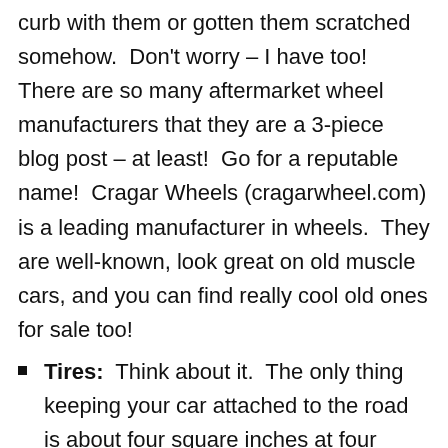curb with them or gotten them scratched somehow.  Don't worry – I have too!  There are so many aftermarket wheel manufacturers that they are a 3-piece blog post – at least!  Go for a reputable name!  Cragar Wheels (cragarwheel.com) is a leading manufacturer in wheels.  They are well-known, look great on old muscle cars, and you can find really cool old ones for sale too!
Tires:  Think about it.  The only thing keeping your car attached to the road is about four square inches at four corners of the car.  That's not a lot.  Get good tires.